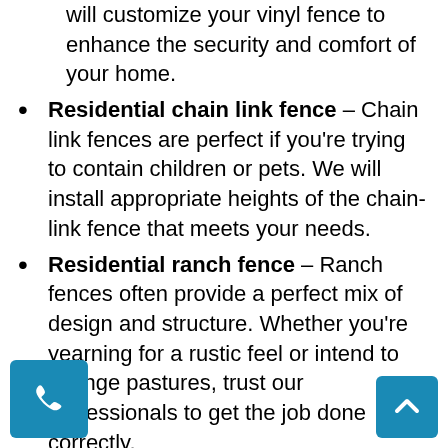will customize your vinyl fence to enhance the security and comfort of your home.
Residential chain link fence – Chain link fences are perfect if you're trying to contain children or pets. We will install appropriate heights of the chain-link fence that meets your needs.
Residential ranch fence – Ranch fences often provide a perfect mix of design and structure. Whether you're yearning for a rustic feel or intend to change pastures, trust our professionals to get the job done correctly.
Residential wrought fence- We care for your garden too. Our fence specialists will install durable and high-grade wrought fences to protect your garden and complement your exterior design. We offer a range of scrollwork and lacework designs that give